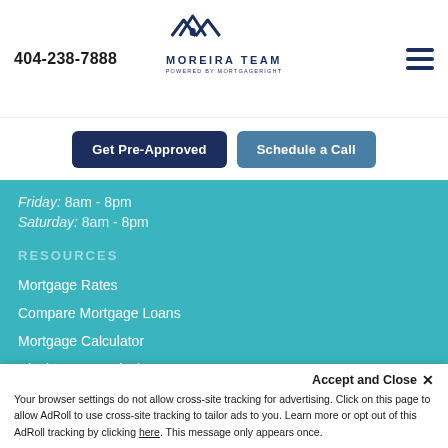404-238-7888
[Figure (logo): Moreira Team logo — house/roof icon above text MOREIRA TEAM POWERED BY MORTGAGERIGHT]
Get Pre-Approved
Schedule a Call
Friday: 8am - 8pm
Saturday: 8am - 8pm
RESOURCES
Mortgage Rates
Compare Mortgage Loans
Mortgage Calculator
Closing Cost Calculator
Mortgage F.A.Q.
Mortgage Guides
Accept and Close ✕
Your browser settings do not allow cross-site tracking for advertising. Click on this page to allow AdRoll to use cross-site tracking to tailor ads to you. Learn more or opt out of this AdRoll tracking by clicking here. This message only appears once.